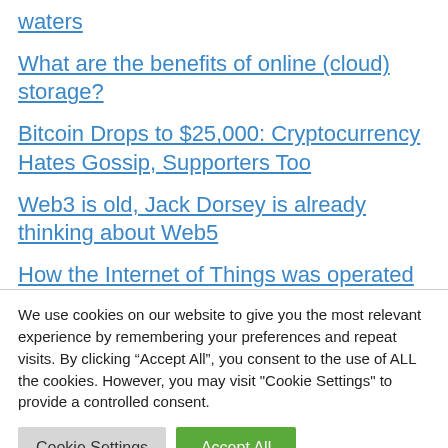waters
What are the benefits of online (cloud) storage?
Bitcoin Drops to $25,000: Cryptocurrency Hates Gossip, Supporters Too
Web3 is old, Jack Dorsey is already thinking about Web5
How the Internet of Things was operated
We use cookies on our website to give you the most relevant experience by remembering your preferences and repeat visits. By clicking “Accept All”, you consent to the use of ALL the cookies. However, you may visit "Cookie Settings" to provide a controlled consent.